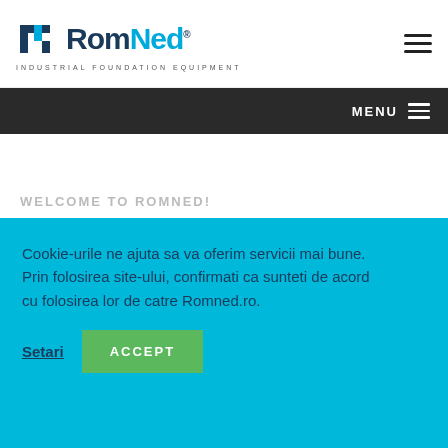RomNed - INDUSTRIAL FOUNDATION EQUIPMENT
MENU
WELCOME TO ROMNED!
ROMNED
Cookie-urile ne ajuta sa va oferim servicii mai bune. Prin folosirea site-ului, confirmati ca sunteti de acord cu folosirea lor de catre Romned.ro.
Setari   ACCEPT